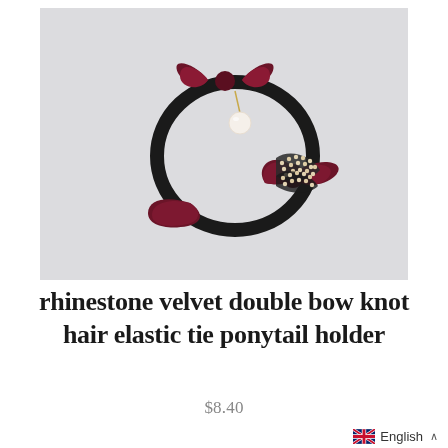[Figure (photo): Product photo of a rhinestone velvet double bow knot hair elastic tie ponytail holder on a light grey background. The hair tie features a black elastic ring, a dark burgundy/wine velvet bow at the top with a pearl charm hanging from it, and a second velvet bow at the side adorned with rhinestone-encrusted rings.]
rhinestone velvet double bow knot hair elastic tie ponytail holder
$8.40
English